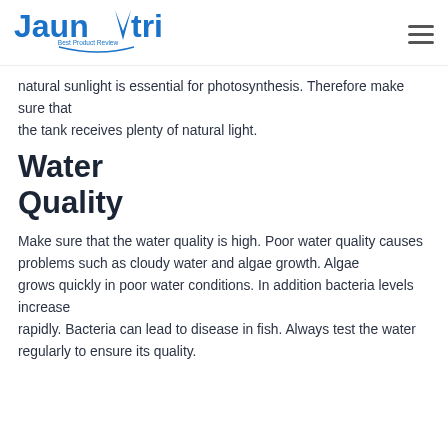Jaunatri Best Product Review
natural sunlight is essential for photosynthesis. Therefore make sure that the tank receives plenty of natural light.
Water Quality
Make sure that the water quality is high. Poor water quality causes problems such as cloudy water and algae growth. Algae grows quickly in poor water conditions. In addition bacteria levels increase rapidly. Bacteria can lead to disease in fish. Always test the water regularly to ensure its quality.